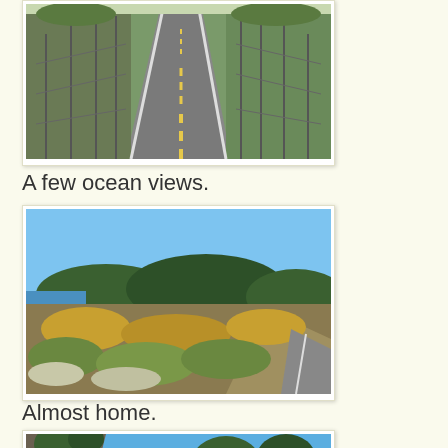[Figure (photo): Looking down a road with chain-link fences on both sides and a yellow dashed center line]
A few ocean views.
[Figure (photo): Scenic coastal view with blue sky, hills covered in trees, yellow wildflowers and shrubs in foreground, glimpse of water on left]
Almost home.
[Figure (photo): Rocky cliff with trees against a bright blue sky, partial view]